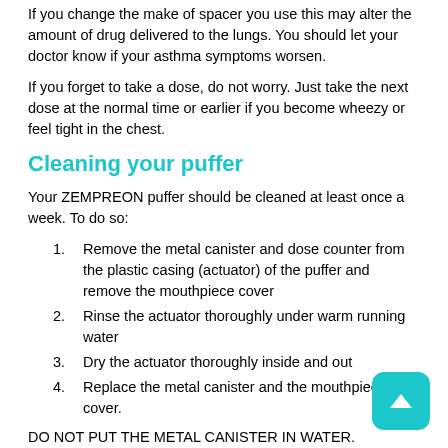If you change the make of spacer you use this may alter the amount of drug delivered to the lungs. You should let your doctor know if your asthma symptoms worsen.
If you forget to take a dose, do not worry. Just take the next dose at the normal time or earlier if you become wheezy or feel tight in the chest.
Cleaning your puffer
Your ZEMPREON puffer should be cleaned at least once a week. To do so:
Remove the metal canister and dose counter from the plastic casing (actuator) of the puffer and remove the mouthpiece cover
Rinse the actuator thoroughly under warm running water
Dry the actuator thoroughly inside and out
Replace the metal canister and the mouthpiece cover.
DO NOT PUT THE METAL CANISTER IN WATER.
While you are taking your ZEMPREON puffer
IMPORTANT: If your breathing suddenly becomes more difficult just after you have used your ZEMPREON puffer, tell your